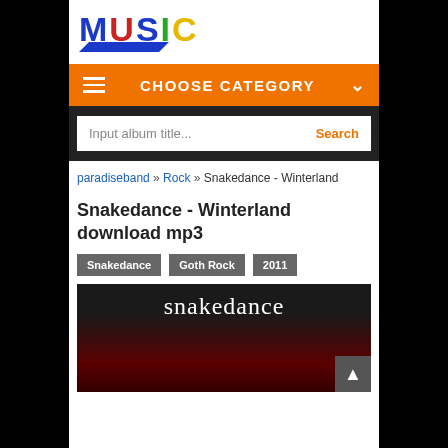[Figure (logo): MUSIC logo with colorful letters M(blue) U(red) S(blue) I(green) C(yellow) and blue chevron underline]
CHOOSE CATEGORY
Input album title...  Search
paradiseband » Rock » Snakedance - Winterland
Snakedance - Winterland download mp3
Snakedance
Goth Rock
2011
[Figure (photo): Album cover for Snakedance - Winterland showing band name 'snakedance' in white serif text on dark background with red imagery below]